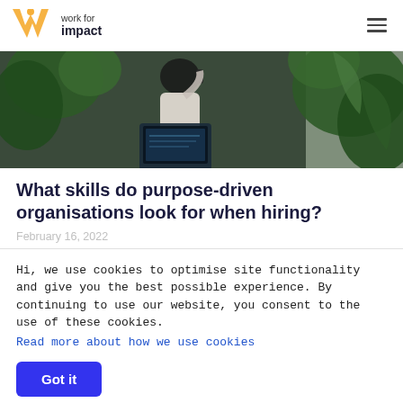[Figure (logo): Work for Impact logo with orange W icon and text 'work for impact']
[Figure (photo): Person seen from behind, talking on phone, working on laptop, surrounded by green plants]
What skills do purpose-driven organisations look for when hiring?
February 16, 2022
Hi, we use cookies to optimise site functionality and give you the best possible experience. By continuing to use our website, you consent to the use of these cookies.
Read more about how we use cookies
Got it